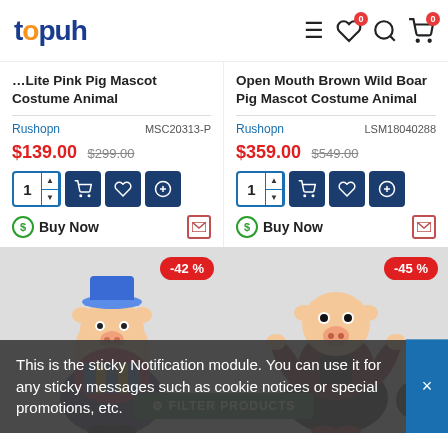[Figure (screenshot): Topuh e-commerce website header with logo, hamburger menu, wishlist with badge 0, search icon, and cart with badge 0]
...Lite Pink Pig Mascot Costume Animal
Rushopn   MSC20313-P
$139.00  $299.00
Buy Now
Open Mouth Brown Wild Boar Pig Mascot Costume Animal
Rushopn   LSM18040288
$359.00  $549.00
Buy Now
[Figure (photo): Pig mascot costume character with hat, -42% discount badge]
[Figure (photo): Pig mascot costume character in overalls, -45% discount badge]
This is the sticky Notification module. You can use it for any sticky messages such as cookie notices or special promotions, etc.